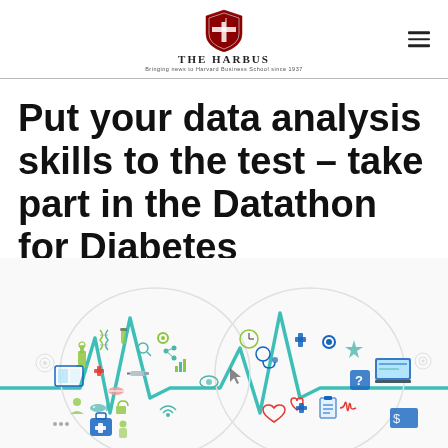THE HARBUS
Put your data analysis skills to the test – take part in the Datathon for Diabetes
[Figure (illustration): Colorful medical and technology icons arranged in a heartbeat/EKG wave pattern, including microscopes, medical crosses, stethoscopes, laptops, pills, DNA, gears, and other health/data science icons in teal, green, blue, and grey colors.]